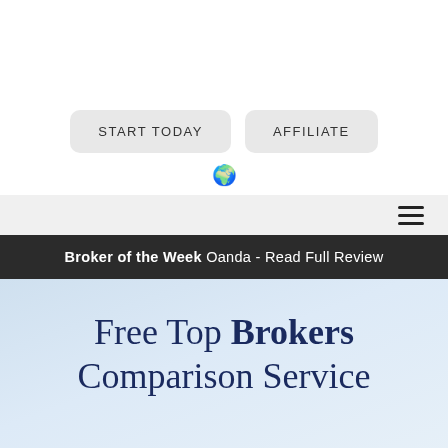[Figure (other): Navigation buttons: START TODAY and AFFILIATE, with a globe icon below]
[Figure (other): Hamburger menu icon (three horizontal lines) in a light gray navigation bar]
Broker of the Week  Oanda - Read Full Review
Free Top Brokers Comparison Service
English